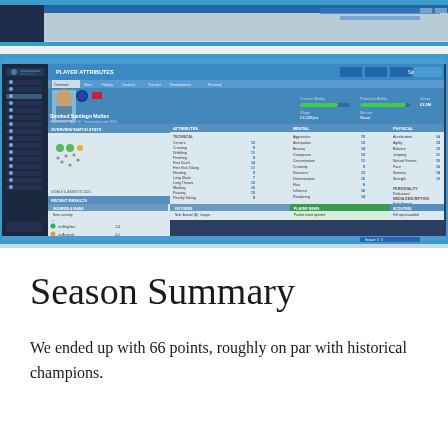[Figure (screenshot): Football Manager game interface screenshot showing a player profile page with attributes, stats panels, and navigation sidebar. The UI features a dark blue sidebar, player header with photo and name, attribute tables, and multiple information panels with colored headers.]
Season Summary
We ended up with 66 points, roughly on par with historical champions.